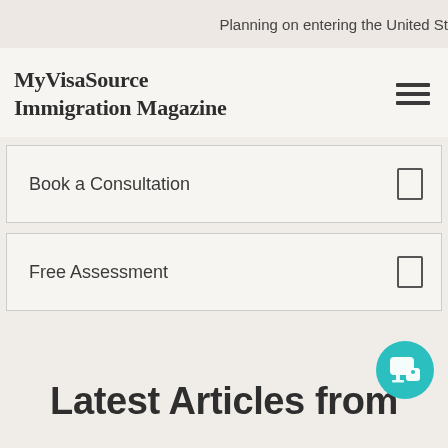Planning on entering the United St
MyVisaSource Immigration Magazine
Book a Consultation
Free Assessment
Latest Articles from